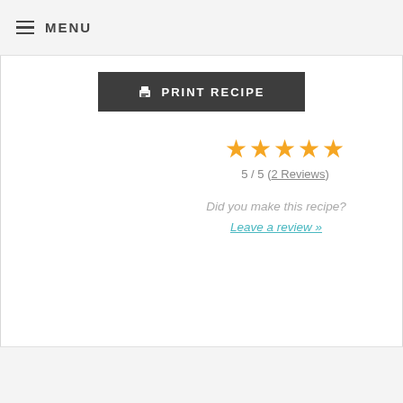MENU
PRINT RECIPE
5 / 5 (2 Reviews)
Did you make this recipe?
Leave a review »